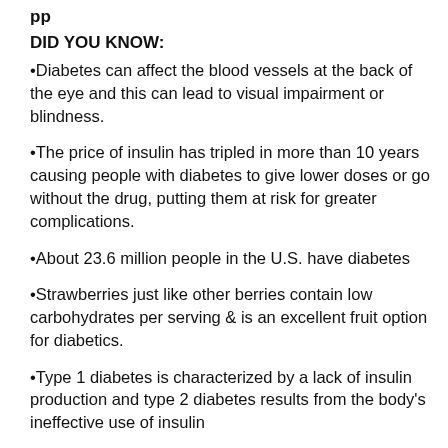pp
DID YOU KNOW:
•Diabetes can affect the blood vessels at the back of the eye and this can lead to visual impairment or blindness.
•The price of insulin has tripled in more than 10 years causing people with diabetes to give lower doses or go without the drug, putting them at risk for greater complications.
•About 23.6 million people in the U.S. have diabetes
•Strawberries just like other berries contain low carbohydrates per serving & is an excellent fruit option for diabetics.
•Type 1 diabetes is characterized by a lack of insulin production and type 2 diabetes results from the body's ineffective use of insulin